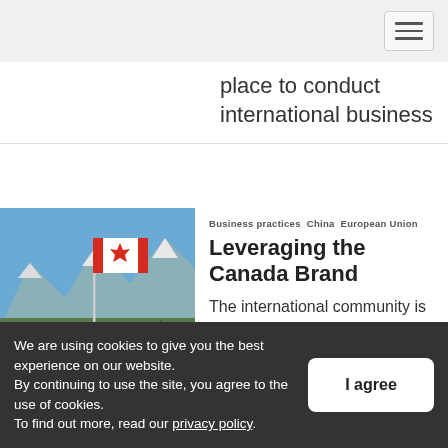[Navigation menu button]
place to conduct international business
[Figure (photo): Canadian flag waving in the wind with snow-capped mountains and blue sky in the background]
Business practices  China  European Union
Leveraging the Canada Brand
The international community is fond of Canada and the stuff we make. Exporters can take advantage
We are using cookies to give you the best experience on our website. By continuing to use the site, you agree to the use of cookies. To find out more, read our privacy policy.